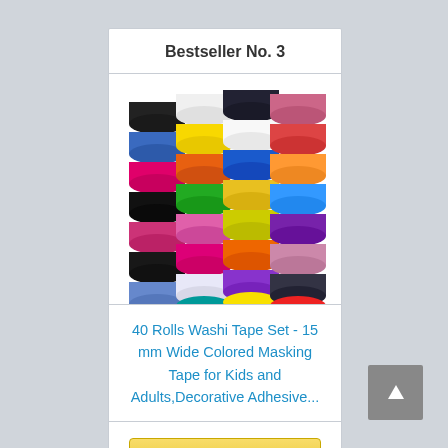Bestseller No. 3
[Figure (photo): Stack of 40 colorful washi tape rolls in various patterns including floral, chevron, geometric, and solid colors]
40 Rolls Washi Tape Set - 15 mm Wide Colored Masking Tape for Kids and Adults,Decorative Adhesive...
Buy on Amazon